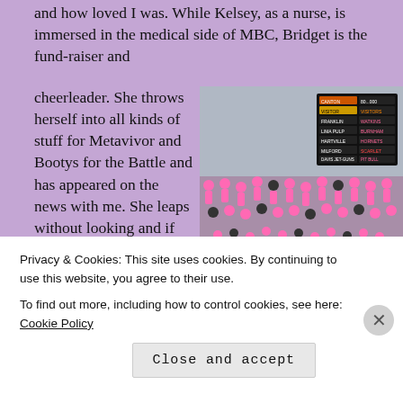and how loved I was. While Kelsey, as a nurse, is immersed in the medical side of MBC, Bridget is the fund-raiser and cheerleader. She throws herself into all kinds of stuff for Metavivor and Bootys for the Battle and has appeared on the news with me. She leaps without looking and if she has an opinion, you will know it. Don't
[Figure (photo): Photo of two women in white t-shirts standing on a gymnasium floor facing away from camera, with a crowd of students sitting on the floor behind them wearing pink t-shirts, and a scoreboard visible in the upper right corner.]
Privacy & Cookies: This site uses cookies. By continuing to use this website, you agree to their use.
To find out more, including how to control cookies, see here: Cookie Policy